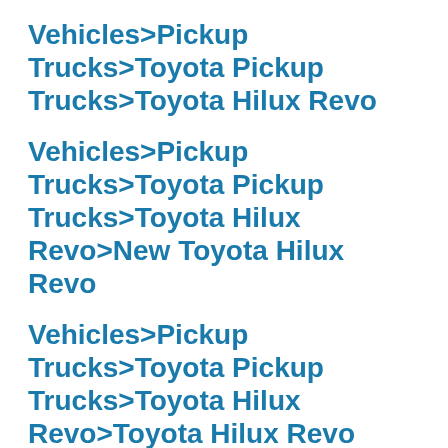Vehicles>Pickup Trucks>Toyota Pickup Trucks>Toyota Hilux Revo
Vehicles>Pickup Trucks>Toyota Pickup Trucks>Toyota Hilux Revo>New Toyota Hilux Revo
Vehicles>Pickup Trucks>Toyota Pickup Trucks>Toyota Hilux Revo>Toyota Hilux Revo Rocco
Vehicles>Pickup Trucks>Toyota Pickup Trucks>Toyota Hilux Revo>Toyota Hilux Revo Single Cab
Vehicles>Pickup Trucks>Toyota Pickup Trucks>Toyota Hilux Tiger